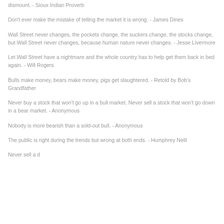dismount. - Sioux Indian Proverb
Don't ever make the mistake of telling the market it is wrong. - James Dines
Wall Street never changes, the pockets change, the suckers change, the stocks change, but Wall Street never changes, because human nature never changes. - Jesse Livermore
Let Wall Street have a nightmare and the whole country has to help get them back in bed again. - Will Rogers
Bulls make money, bears make money, pigs get slaughtered. - Retold by Bob's Grandfather
Never buy a stock that won't go up in a bull market. Never sell a stock that won't go down in a bear market. - Anonymous
Nobody is more bearish than a sold-out bull. - Anonymous
The public is right during the trends but wrong at both ends. - Humphrey Neill
Never sell a d...